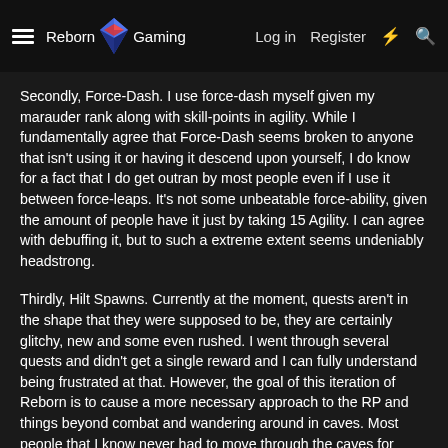Reborn Gaming  Log in  Register
Secondly, Force-Dash. I use force-dash myself given my marauder rank along with skill-points in agility. While I fundamentally agree that Force-Dash seems broken to anyone that isn't using it or having it descend upon yourself, I do know for a fact that I do get outran by most people even if I use it between force-leaps. It's not some unbeatable force-ability, given the amount of people have it just by taking 15 Agility. I can agree with debuffing it, but to such a extreme extent seems undeniably headstrong.
Thirdly, Hilt Spawns. Currently at the moment, quests aren't in the shape that they were supposed to be, they are certainly glitchy, new and some even rushed. I went through several quests and didn't get a single reward and I can fully understand being frustrated at that. However, the goal of this iteration of Reborn is to cause a more necessary approach to the RP and things beyond combat and wandering around in caves. Most people that I know never had to move through the caves for